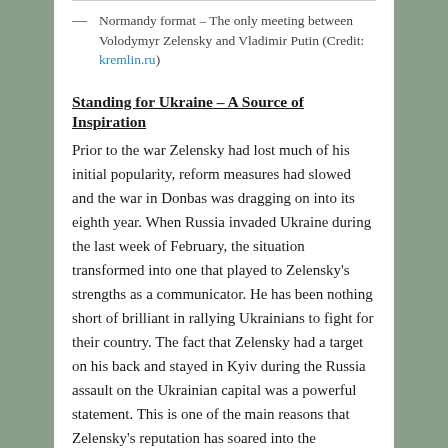— Normandy format – The only meeting between Volodymyr Zelensky and Vladimir Putin (Credit: kremlin.ru)
Standing for Ukraine – A Source of Inspiration
Prior to the war Zelensky had lost much of his initial popularity, reform measures had slowed and the war in Donbas was dragging on into its eighth year. When Russia invaded Ukraine during the last week of February, the situation transformed into one that played to Zelensky's strengths as a communicator. He has been nothing short of brilliant in rallying Ukrainians to fight for their country. The fact that Zelensky had a target on his back and stayed in Kyiv during the Russia assault on the Ukrainian capital was a powerful statement. This is one of the main reasons that Zelensky's reputation has soared into the stratosphere. Most of this is well deserved, but he is far from perfect.
There have been criticisms about Ukraine's preparedness for the war after Zelensky downplayed the risks of a Russian invasion right up until the day it occurred. There